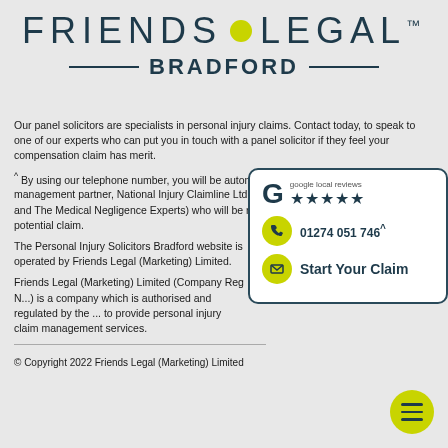[Figure (logo): Friends Legal trademark logo with yellow dot between FRIENDS and LEGAL, and BRADFORD subtitle with decorative rules]
Our panel solicitors are specialists in personal injury claims. Contact today, to speak to one of our experts who can put you in touch with a panel solicitor if they feel your compensation claim has merit.
^ By using our telephone number, you will be automatically transferred to our claims management partner, National Injury Claimline Ltd (trading as The Compensation Experts and The Medical Negligence Experts) who will be responsible for assisting with your potential claim.
The Personal Injury Solicitors Bradford website is operated by Friends Legal (Marketing) Limited.
Friends Legal (Marketing) Limited (Company Reg N...) is a company which is authorised and regulated by the ... to provide personal injury claim management services.
[Figure (infographic): Sidebar card with Google 5-star local reviews, phone number 01274 051 746 with caret, and Start Your Claim email button, all on white background with dark teal border]
© Copyright 2022 Friends Legal (Marketing) Limited
[Figure (other): Yellow circular hamburger menu button with three dark teal horizontal lines]